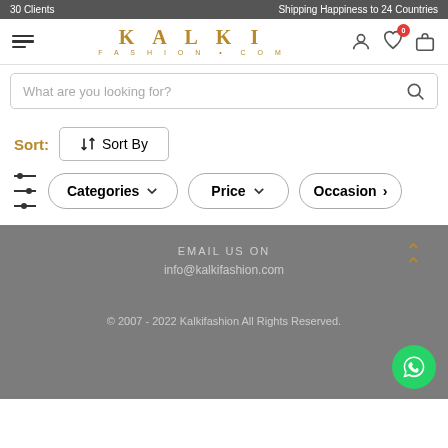30 Clients   Shipping Happiness to 24 Countries
[Figure (screenshot): Kalki Fashion website header with hamburger menu, logo, user icon, wishlist icon with badge 0, and bag icon]
What are you looking for?
Sort:  ↕ Sort By
Categories ∨   Price ∨   Occasion ∨
EMAIL US ON
info@kalkifashion.com
© 2007 - 2022 Kalkifashion All Rights Reserved.